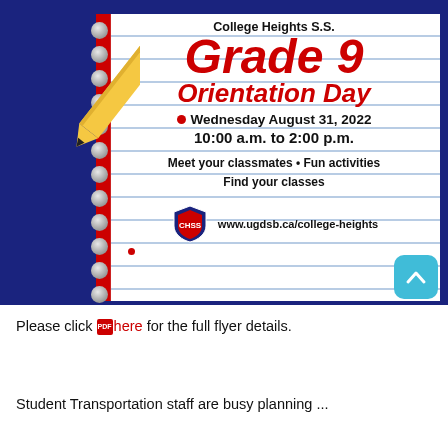[Figure (illustration): School orientation day flyer styled as a spiral notebook page with a pencil in the upper left. Text on the notebook reads: College Heights S.S. / Grade 9 / Orientation Day / Wednesday August 31, 2022 / 10:00 a.m. to 2:00 p.m. / Meet your classmates • Fun activities / Find your classes / Shield logo and www.ugdsb.ca/college-heights]
Please click here for the full flyer details.
Student Transportation staff are busy planning ...